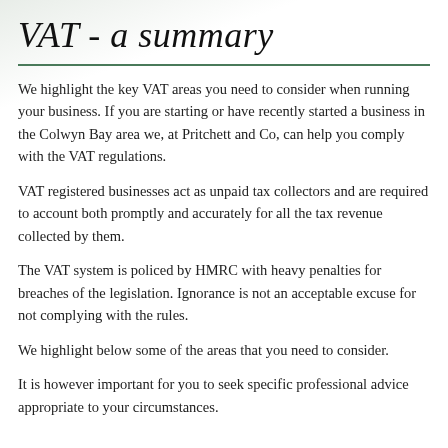VAT - a summary
We highlight the key VAT areas you need to consider when running your business. If you are starting or have recently started a business in the Colwyn Bay area we, at Pritchett and Co, can help you comply with the VAT regulations.
VAT registered businesses act as unpaid tax collectors and are required to account both promptly and accurately for all the tax revenue collected by them.
The VAT system is policed by HMRC with heavy penalties for breaches of the legislation. Ignorance is not an acceptable excuse for not complying with the rules.
We highlight below some of the areas that you need to consider.
It is however important for you to seek specific professional advice appropriate to your circumstances.